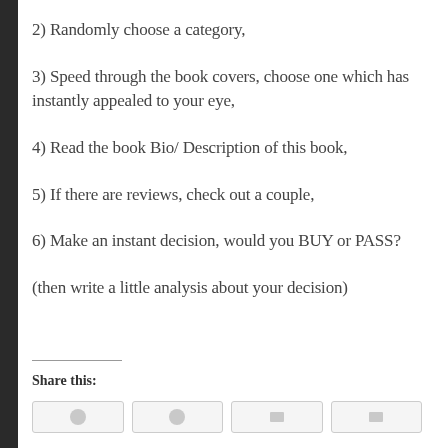2) Randomly choose a category,
3) Speed through the book covers, choose one which has instantly appealed to your eye,
4) Read the book Bio/ Description of this book,
5) If there are reviews, check out a couple,
6) Make an instant decision, would you BUY or PASS?
(then write a little analysis about your decision)
Share this: